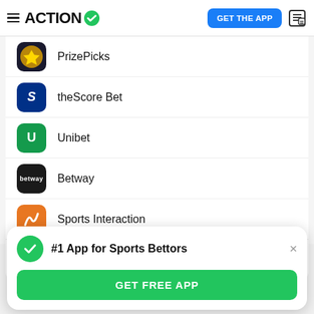ACTION #1 App for Sports Bettors — GET THE APP
PrizePicks
theScore Bet
Unibet
Betway
Sports Interaction
DraftKings
#1 App for Sports Bettors
GET FREE APP